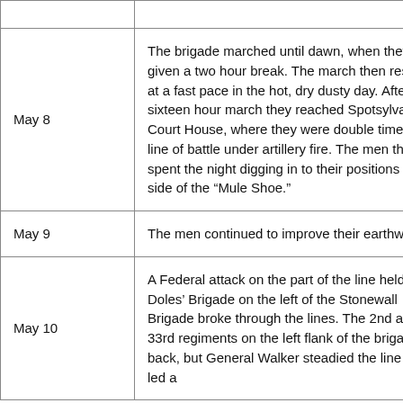| Date | Event |
| --- | --- |
|  |  |
| May 8 | The brigade marched until dawn, when they were given a two hour break. The march then resumed at a fast pace in the hot, dry dusty day. After a sixteen hour march they reached Spotsylvania Court House, where they were double timed into line of battle under artillery fire. The men then spent the night digging in to their positions on the side of the “Mule Shoe.” |
| May 9 | The men continued to improve their earthworks. |
| May 10 | A Federal attack on the part of the line held by Doles’ Brigade on the left of the Stonewall Brigade broke through the lines. The 2nd and 33rd regiments on the left flank of the brigade fell back, but General Walker steadied the line and led a |